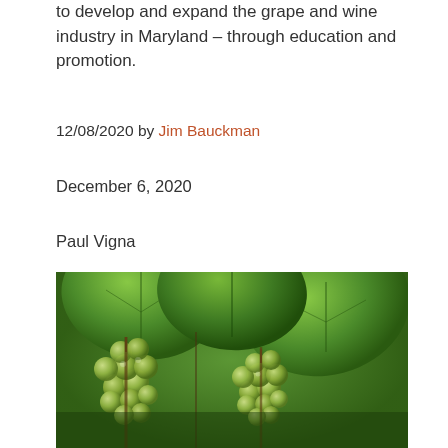to develop and expand the grape and wine industry in Maryland – through education and promotion.
12/08/2020 by Jim Bauckman
December 6, 2020
Paul Vigna
PennLive
[Figure (photo): Close-up photograph of green grape clusters hanging on a vine with large grape leaves visible in the background]